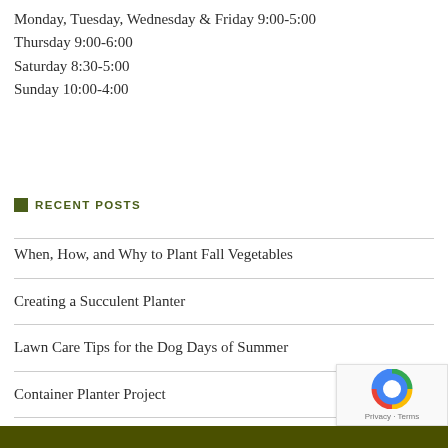Monday, Tuesday, Wednesday & Friday 9:00-5:00
Thursday 9:00-6:00
Saturday 8:30-5:00
Sunday 10:00-4:00
RECENT POSTS
When, How, and Why to Plant Fall Vegetables
Creating a Succulent Planter
Lawn Care Tips for the Dog Days of Summer
Container Planter Project
Summer Gardening Tips